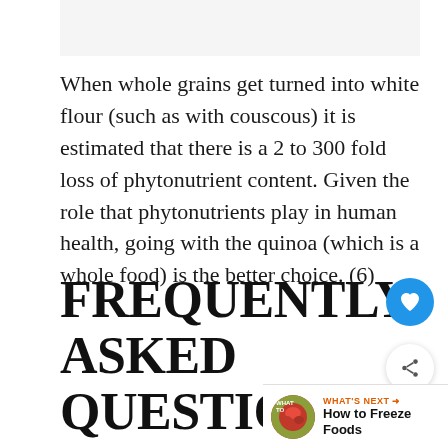When whole grains get turned into white flour (such as with couscous) it is estimated that there is a 2 to 300 fold loss of phytonutrient content. Given the role that phytonutrients play in human health, going with the quinoa (which is a whole food) is the better choice. (6)
FREQUENTLY ASKED QUESTIONS